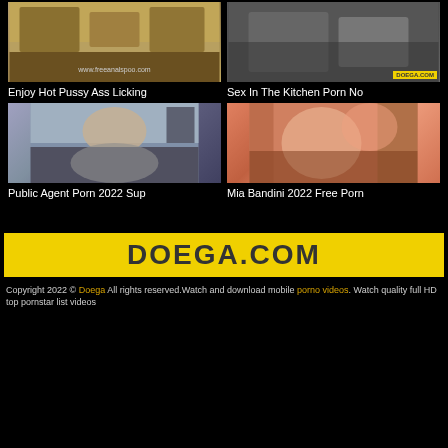[Figure (photo): Thumbnail image - Enjoy Hot Pussy Ass Licking]
[Figure (photo): Thumbnail image with DOEGA.COM badge - Sex In The Kitchen Porn No]
Enjoy Hot Pussy Ass Licking
Sex In The Kitchen Porn No
[Figure (photo): Thumbnail image - Public Agent Porn 2022 Sup]
[Figure (photo): Thumbnail image - Mia Bandini 2022 Free Porn]
Public Agent Porn 2022 Sup
Mia Bandini 2022 Free Porn
[Figure (logo): DOEGA.COM logo on yellow background]
Copyright 2022 © Doega All rights reserved.Watch and download mobile porno videos. Watch quality full HD top pornstar list videos